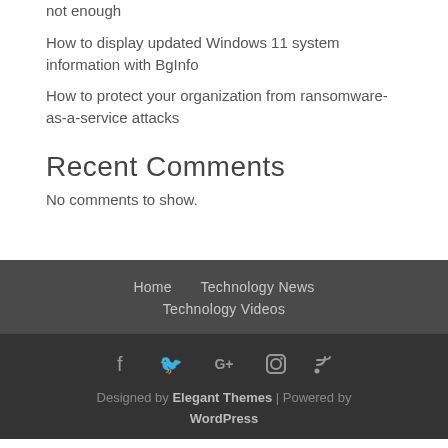not enough
How to display updated Windows 11 system information with BgInfo
How to protect your organization from ransomware-as-a-service attacks
Recent Comments
No comments to show.
Home   Technology News   Technology Videos
Designed by Elegant Themes | Powered by WordPress